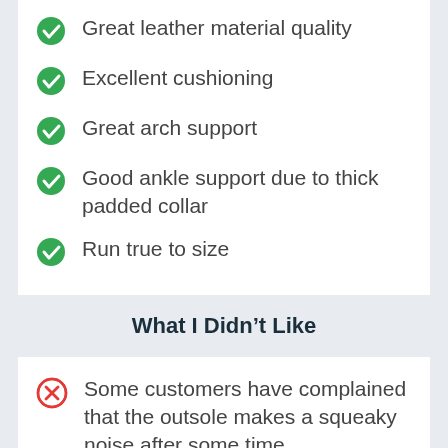Great leather material quality
Excellent cushioning
Great arch support
Good ankle support due to thick padded collar
Run true to size
What I Didn't Like
Some customers have complained that the outsole makes a squeaky noise after some time
[Figure (screenshot): Ad banner: Online Ordering Available - Crumbl Cookies - Ashburn]